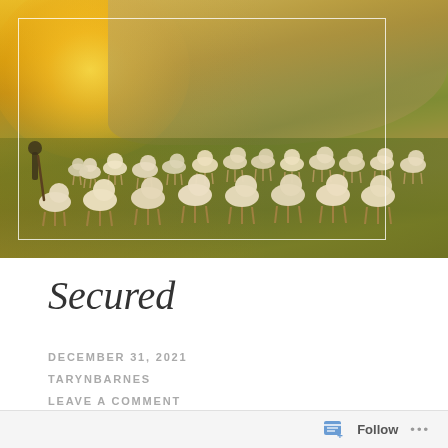[Figure (photo): A pastoral landscape photo showing a shepherd with a large flock of sheep grazing on green rolling hills, golden sunlight flooding from the left side, with a white rectangular border overlay on the photo.]
Secured
DECEMBER 31, 2021
TARYNBARNES
LEAVE A COMMENT
Follow ...